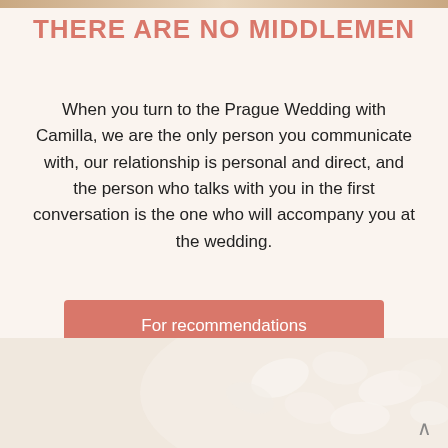[Figure (photo): Narrow strip of a photo at the very top of the page, cropped.]
THERE ARE NO MIDDLEMEN
When you turn to the Prague Wedding with Camilla, we are the only person you communicate with, our relationship is personal and direct, and the person who talks with you in the first conversation is the one who will accompany you at the wedding.
For recommendations
[Figure (photo): Partial photo at the bottom of the page showing white floral/leaf elements on a soft beige background.]